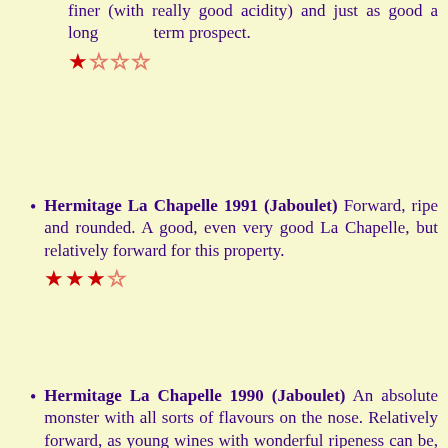finer (with really good acidity) and just as good a long term prospect. ★☆☆☆
Hermitage La Chapelle 1991 (Jaboulet) Forward, ripe and rounded. A good, even very good La Chapelle, but relatively forward for this property. ★★★☆
Hermitage La Chapelle 1990 (Jaboulet) An absolute monster with all sorts of flavours on the nose. Relatively forward, as young wines with wonderful ripeness can be, although this will last and last. There is